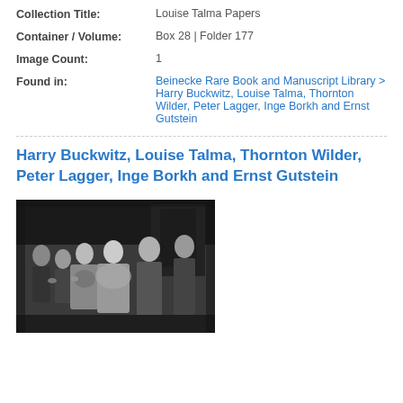Collection Title: Louise Talma Papers
Container / Volume: Box 28 | Folder 177
Image Count: 1
Found in: Beinecke Rare Book and Manuscript Library > Harry Buckwitz, Louise Talma, Thornton Wilder, Peter Lagger, Inge Borkh and Ernst Gutstein
Harry Buckwitz, Louise Talma, Thornton Wilder, Peter Lagger, Inge Borkh and Ernst Gutstein
[Figure (photo): Black and white photograph of a group of people, including performers in costume and others in formal attire, gathered together on what appears to be a stage or performance setting.]